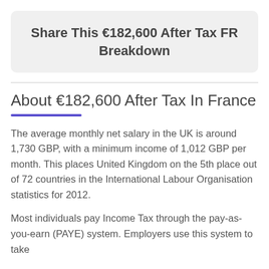Share This €182,600 After Tax FR Breakdown
About €182,600 After Tax In France
The average monthly net salary in the UK is around 1,730 GBP, with a minimum income of 1,012 GBP per month. This places United Kingdom on the 5th place out of 72 countries in the International Labour Organisation statistics for 2012.
Most individuals pay Income Tax through the pay-as-you-earn (PAYE) system. Employers use this system to take Income Tax and National Insurance contributions from the